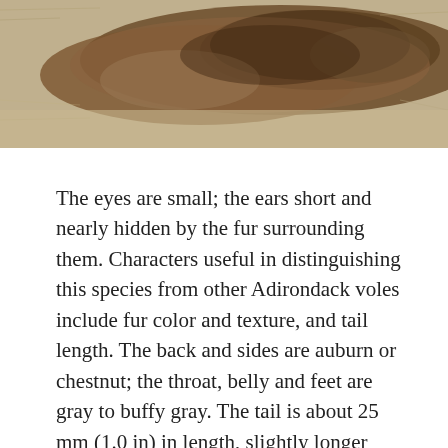[Figure (photo): Close-up photograph of a vole or small rodent showing brown/chestnut and gray fur texture with a blurred background of sandy or rocky substrate.]
The eyes are small; the ears short and nearly hidden by the fur surrounding them. Characters useful in distinguishing this species from other Adirondack voles include fur color and texture, and tail length. The back and sides are auburn or chestnut; the throat, belly and feet are gray to buffy gray. The tail is about 25 mm (1.0 in) in length, slightly longer than the hind foot. Bog lemmings have shorter tails and shaggy fur; the other voles have longer tails.
A diminutive harvest mouse like R. montanus, but upperparts deep brown or gray, heavily mixed with black, especially on the mid-dorsal area; ears blackish